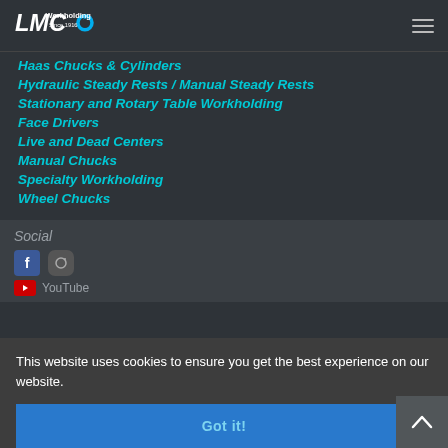[Figure (logo): LMC Workholding Since 1916 company logo with stylized LMC letters and circular blue icon]
Haas Chucks & Cylinders
Hydraulic Steady Rests / Manual Steady Rests
Stationary and Rotary Table Workholding
Face Drivers
Live and Dead Centers
Manual Chucks
Specialty Workholding
Wheel Chucks
Social
This website uses cookies to ensure you get the best experience on our website.
Got it!